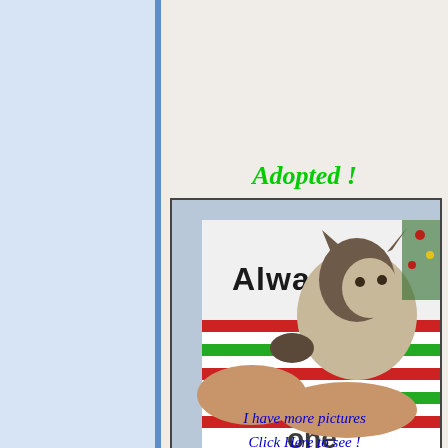Adopted !
[Figure (photo): A Siamese cat being held in someone's arms wearing a red, white, and green striped long-sleeve shirt with 'Always' text visible on an undershirt]
I have more pictures
Click Here to see !